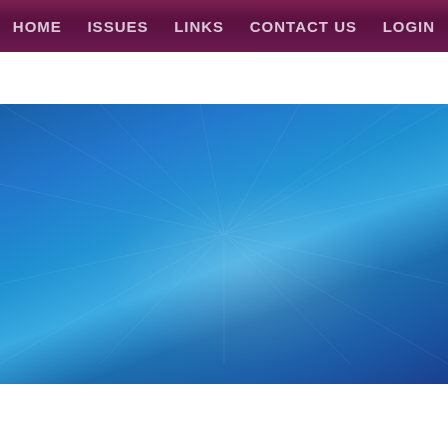HOME  /  ISSUES  /  LINKS  /  CONTACT US  /  LOGIN
[Figure (illustration): Blue radial burst hero banner with faint patriotic imagery overlay]
HOME / CONSTITUTION / 23RD AMENDMENT
[Figure (illustration): Sub-banner strip with blended blue tones and faint imagery]
Taxation Without Self Government is Subjection. - mlw?
23rd Amendment